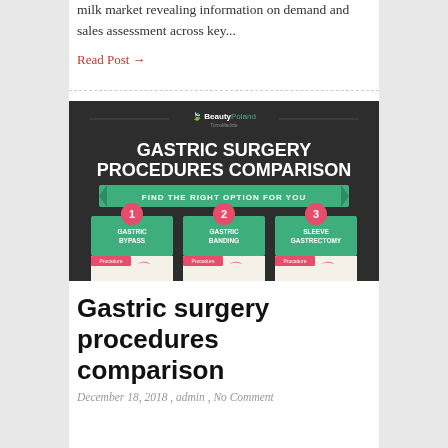milk market revealing information on demand and sales assessment across key...
Read Post →
[Figure (infographic): Infographic titled 'Gastric Surgery Procedures Comparison' with subtitle 'Find the right option for you'. Shows three options on dark background: 1. Gastric Bypass, 2. Gastric Banding, 3. Sleeve Gastrectomy. Each has a green box with numbered pink circle, procedure label, and stomach illustration. BeautyPoland logo at top.]
Gastric surgery procedures comparison
December 18, 2018 , admin , No Comment